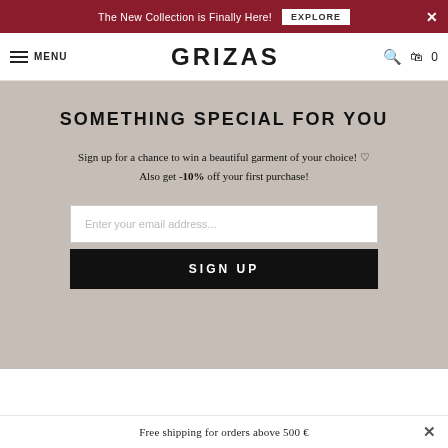The New Collection is Finally Here! EXPLORE ×
MENU GRIZAS 🔍 🛍 0
SOMETHING SPECIAL FOR YOU
Sign up for a chance to win a beautiful garment of your choice! ♡ Also get -10% off your first purchase!
Enter your email address...
SIGN UP
Free shipping for orders above 500 € ×